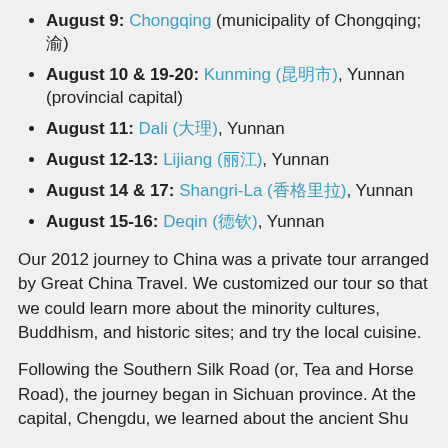August 9: Chongqing (municipality of Chongqing; 渝)
August 10 & 19-20: Kunming (昆明市), Yunnan (provincial capital)
August 11: Dali (大理), Yunnan
August 12-13: Lijiang (丽江), Yunnan
August 14 & 17: Shangri-La (香格里拉), Yunnan
August 15-16: Deqin (德钦), Yunnan
Our 2012 journey to China was a private tour arranged by Great China Travel. We customized our tour so that we could learn more about the minority cultures, Buddhism, and historic sites; and try the local cuisine.
Following the Southern Silk Road (or, Tea and Horse Road), the journey began in Sichuan province. At the capital, Chengdu, we learned about the ancient Shu...